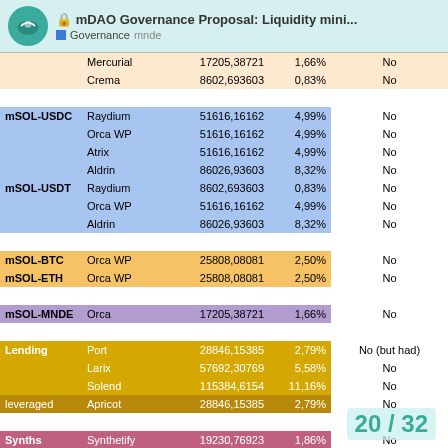mDAO Governance Proposal: Liquidity mini... Governance mnde
| Category | Protocol | Amount | % | Approved |
| --- | --- | --- | --- | --- |
|  | Mercurial | 17205,38721 | 1,66% | No |
|  | Crema | 8602,693603 | 0,83% | No |
| mSOL-USDC | Raydium | 51616,16162 | 4,99% | No |
|  | Orca WP | 51616,16162 | 4,99% | No |
|  | Atrix | 51616,16162 | 4,99% | No |
|  | Aldrin | 86026,93603 | 8,32% | No |
| mSOL-USDT | Raydium | 8602,693603 | 0,83% | No |
|  | Orca WP | 51616,16162 | 4,99% | No |
|  | Aldrin | 86026,93603 | 8,32% | No |
| mSOL-BTC | Orca WP | 25808,08081 | 2,50% | No |
| mSOL-ETH | Orca WP | 25808,08081 | 2,50% | No |
| mSOL-MNDE | Orca | 17205,38721 | 1,66% | No |
| Lending | Port | 28846,15385 | 2,79% | No (but had) |
|  | Larix | 57692,30769 | 5,58% | No |
|  | Solend | 115384,6154 | 11,16% | No |
| leveraged | Apricot | 28846,15385 | 2,79% | No |
| Synths | Synthetify | 19230,76923 | 1,86% | No |
| Options | Friktion | 9615,384615 | 0,93% | Yes |
| Total |  | 1033857,809 | 100,00% |  |
| With Quarry |  | 284901,5799 | 27,56% |  |
| Without Quarry |  | 748956,229 | 72,44% |  |